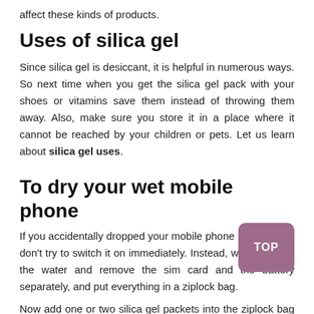affect these kinds of products.
Uses of silica gel
Since silica gel is desiccant, it is helpful in numerous ways. So next time when you get the silica gel pack with your shoes or vitamins save them instead of throwing them away. Also, make sure you store it in a place where it cannot be reached by your children or pets. Let us learn about silica gel uses.
To dry your wet mobile phone
If you accidentally dropped your mobile phone in the water, don't try to switch it on immediately. Instead, wipe away all the water and remove the sim card and the battery separately, and put everything in a ziplock bag.
Now add one or two silica gel packets into the ziplock bag along with the mobile, and leave it alone for a minimum of forty-eight